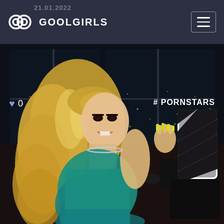21.01.2022 GOOLGIRLS
[Figure (photo): A blonde woman in a teal dress taking a selfie with a zebra-print phone case, yellow nails, in a dimly lit high-rise room with city lights visible through large windows at night.]
♥ 0
# PORNSTARS